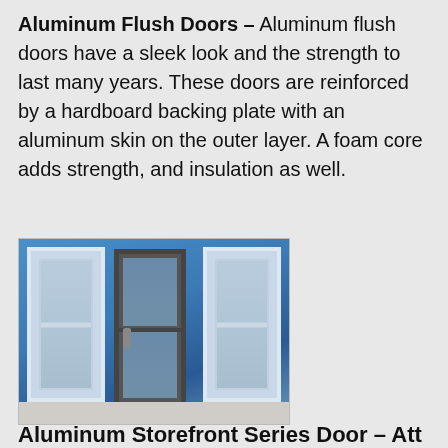Aluminum Flush Doors – Aluminum flush doors have a sleek look and the strength to last many years. These doors are reinforced by a hardboard backing plate with an aluminum skin on the outer layer. A foam core adds strength, and insulation as well.
[Figure (photo): Three aluminum flush doors shown against a blue background. The center door has a dark/bronze frame and is closed showing two glass panels separated by a horizontal rail. The left and right doors have white/silver frames and are shown open at angles, each with a large glass panel.]
Aluminum Storefront Series Door – Att...